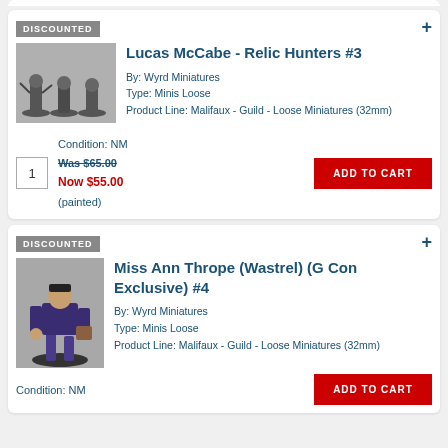DISCOUNTED
Lucas McCabe - Relic Hunters #3
[Figure (photo): Group of painted miniature figures (Lucas McCabe - Relic Hunters) on dark bases]
By: Wyrd Miniatures
Type: Minis Loose
Product Line: Malifaux - Guild - Loose Miniatures (32mm)
Condition: NM
Was $65.00
Now $55.00
(painted)
ADD TO CART
DISCOUNTED
Miss Ann Thrope (Wastrel) (G Con Exclusive) #4
[Figure (photo): Painted miniature figure of Miss Ann Thrope (Wastrel) on a round base]
By: Wyrd Miniatures
Type: Minis Loose
Product Line: Malifaux - Guild - Loose Miniatures (32mm)
Condition: NM